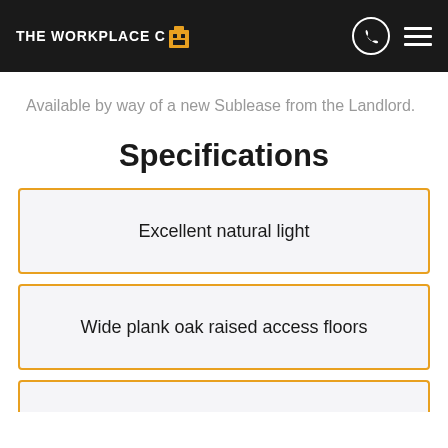THE WORKPLACE CO
Available by way of a new Sublease from the Landlord.
Specifications
Excellent natural light
Wide plank oak raised access floors